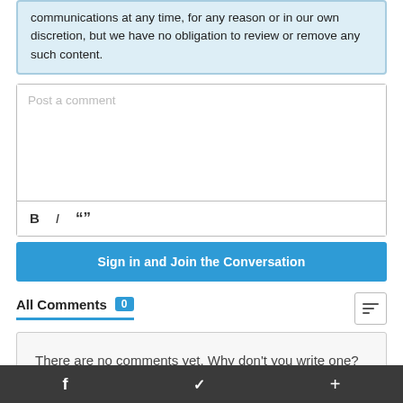communications at any time, for any reason or in our own discretion, but we have no obligation to review or remove any such content.
Post a comment
[Figure (screenshot): Text editor toolbar with Bold (B), Italic (I), and blockquote (“”) buttons]
Sign in and Join the Conversation
All Comments 0
There are no comments yet. Why don't you write one?
f  ✓  +